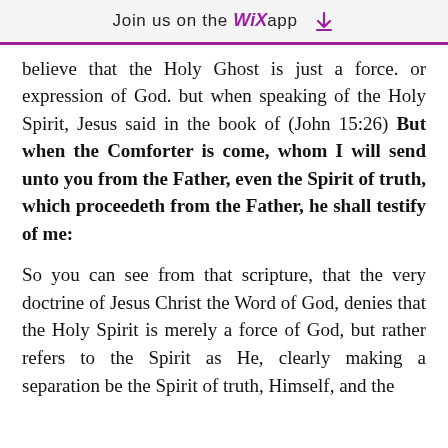Join us on the WiX app ↓
believe that the Holy Ghost is just a force. or expression of God. but when speaking of the Holy Spirit, Jesus said in the book of (John 15:26) But when the Comforter is come, whom I will send unto you from the Father, even the Spirit of truth, which proceedeth from the Father, he shall testify of me:
So you can see from that scripture, that the very doctrine of Jesus Christ the Word of God, denies that the Holy Spirit is merely a force of God, but rather refers to the Spirit as He, clearly making a separation be the Spirit of truth, Himself, and the